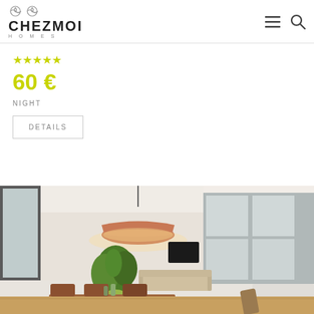CHEZMOI HOMES
★★★★★
60 €
NIGHT
DETAILS
[Figure (photo): Interior of a modern open-plan living/dining area with a copper pendant light hanging from the ceiling, a wooden dining table with chairs, green plants, a sofa, and large windows in the background.]